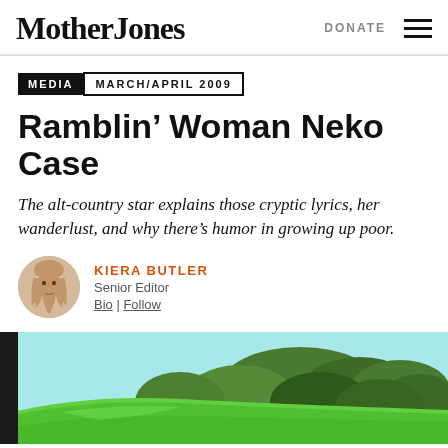Mother Jones | DONATE ☰
MEDIA  MARCH/APRIL 2009
Ramblin' Woman Neko Case
The alt-country star explains those cryptic lyrics, her wanderlust, and why there's humor in growing up poor.
KIERA BUTLER
Senior Editor
Bio | Follow
[Figure (photo): Photo of green car with trees in background, cropped at bottom of page]